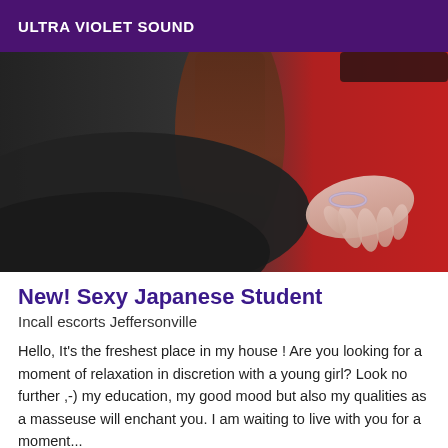ULTRA VIOLET SOUND
[Figure (photo): Close-up photo of a person wearing a black top and a red background, with a hand visible wearing a bracelet, and brown hair visible.]
New! Sexy Japanese Student
Incall escorts Jeffersonville
Hello, It's the freshest place in my house ! Are you looking for a moment of relaxation in discretion with a young girl? Look no further ,-) my education, my good mood but also my qualities as a masseuse will enchant you. I am waiting to live with you for a moment...